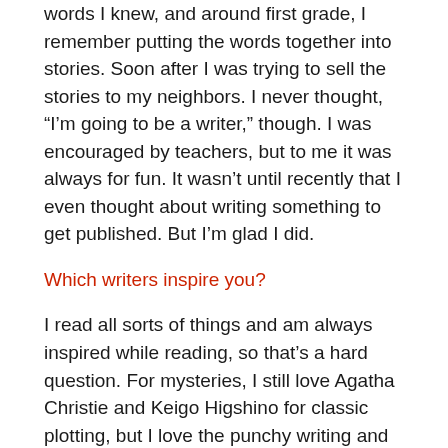words I knew, and around first grade, I remember putting the words together into stories. Soon after I was trying to sell the stories to my neighbors. I never thought, “I’m going to be a writer,” though. I was encouraged by teachers, but to me it was always for fun. It wasn’t until recently that I even thought about writing something to get published. But I’m glad I did.
Which writers inspire you?
I read all sorts of things and am always inspired while reading, so that’s a hard question. For mysteries, I still love Agatha Christie and Keigo Higshino for classic plotting, but I love the punchy writing and humor of Elmore Leonard and Carl Hiaasen. For romantic comedy, I adore Jennifer Crusie, Meg Cabot, and Jill